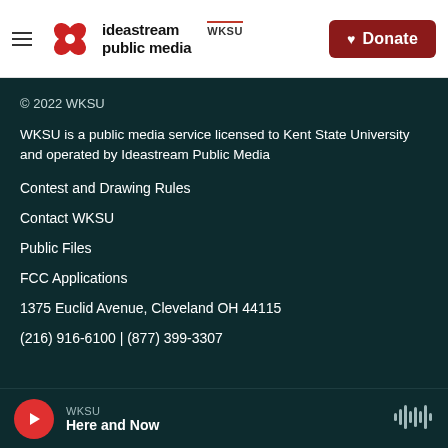[Figure (logo): Ideastream Public Media / WKSU logo with red flower icon, hamburger menu, and Donate button]
© 2022 WKSU
WKSU is a public media service licensed to Kent State University and operated by Ideastream Public Media
Contest and Drawing Rules
Contact WKSU
Public Files
FCC Applications
1375 Euclid Avenue, Cleveland OH 44115
(216) 916-6100 | (877) 399-3307
WKSU Here and Now